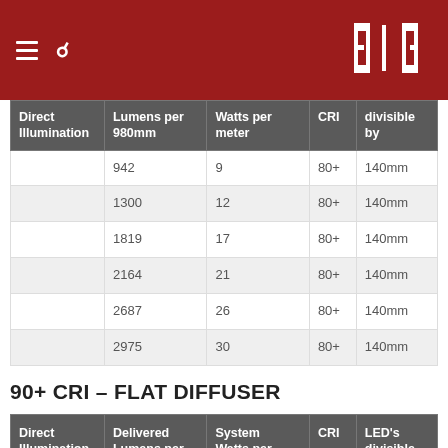ELS
| Direct Illumination | Delivered Lumens per 980mm | System Watts per meter | CRI | LED's divisible by |
| --- | --- | --- | --- | --- |
|  | 942 | 9 | 80+ | 140mm |
|  | 1300 | 12 | 80+ | 140mm |
|  | 1819 | 17 | 80+ | 140mm |
|  | 2164 | 21 | 80+ | 140mm |
|  | 2687 | 26 | 80+ | 140mm |
|  | 2975 | 30 | 80+ | 140mm |
90+ CRI – FLAT DIFFUSER
| Direct Illumination | Delivered Lumens per 980mm | System Watts per meter | CRI | LED's divisible by |
| --- | --- | --- | --- | --- |